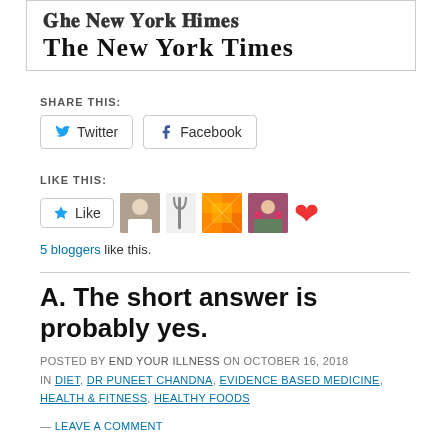[Figure (logo): The New York Times logo in black serif blackletter font inside a bordered box]
SHARE THIS:
Twitter  Facebook (share buttons)
LIKE THIS:
Like button with 5 blogger avatars and heart icon. 5 bloggers like this.
A. The short answer is probably yes.
POSTED BY END YOUR ILLNESS ON OCTOBER 16, 2018
IN DIET, DR PUNEET CHANDNA, EVIDENCE BASED MEDICINE, HEALTH & FITNESS, HEALTHY FOODS
— LEAVE A COMMENT